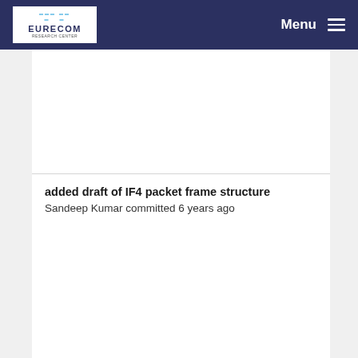EURECOM Menu
added draft of IF4 packet frame structure
Sandeep Kumar committed 6 years ago
initial testing version of L1L-L1H split (RRU-RAU)
knopp committed 5 years ago
changes to handle different proc in callers
Sandeep Kumar committed 6 years ago
fixes for if4, tools for compilation